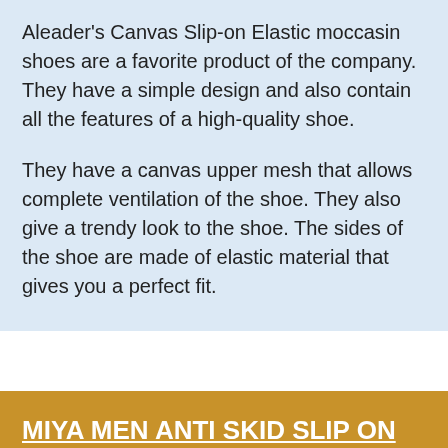Aleader's Canvas Slip-on Elastic moccasin shoes are a favorite product of the company. They have a simple design and also contain all the features of a high-quality shoe.

They have a canvas upper mesh that allows complete ventilation of the shoe. They also give a trendy look to the shoe. The sides of the shoe are made of elastic material that gives you a perfect fit.
MIYA MEN ANTI SKID SLIP ON MOCCASIN SLIPPERS – BEST DRIVING SHOES